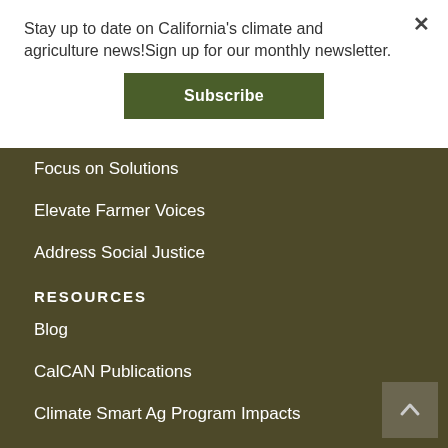Stay up to date on California's climate and agriculture news!Sign up for our monthly newsletter.
Subscribe
Focus on Solutions
Elevate Farmer Voices
Address Social Justice
RESOURCES
Blog
CalCAN Publications
Climate Smart Ag Program Impacts
Resources for Climate Resilience